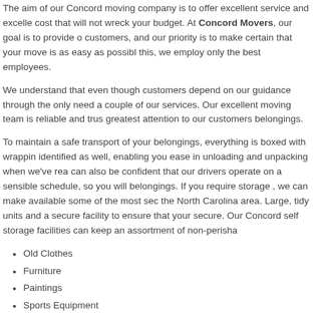The aim of our Concord moving company is to offer excellent service and excellent cost that will not wreck your budget. At Concord Movers, our goal is to provide our customers, and our priority is to make certain that your move is as easy as possible this, we employ only the best employees.
We understand that even though customers depend on our guidance through the only need a couple of our services. Our excellent moving team is reliable and trustworthy greatest attention to our customers belongings.
To maintain a safe transport of your belongings, everything is boxed with wrapping identified as well, enabling you ease in unloading and unpacking when we've reached can also be confident that our drivers operate on a sensible schedule, so you will belongings. If you require storage , we can make available some of the most secure the North Carolina area. Large, tidy units and a secure facility to ensure that your secure. Our Concord self storage facilities can keep an assortment of non-perisha
Old Clothes
Furniture
Paintings
Sports Equipment
Bikes or Motorcycles
And Much More!
When the day comes and you need your belongings from our storage unit, we can new residence at a time that works for you. You also have the option to pick up your own or a personal vehicle. This is an ideal option for those who are on a tight time keep the cost of their moving process within budget.
Get a move on now and schedule your relocation with Concord Movers!